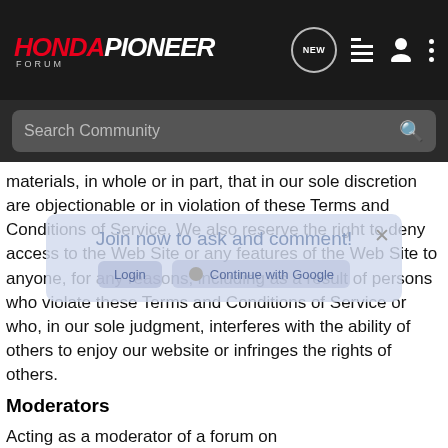[Figure (logo): Honda Pioneer Forum logo with red HONDA text and white PIONEER text, italic bold, on dark background]
Search Community
materials, in whole or in part, that in our sole discretion are objectionable or in violation of these Terms and Conditions of Service. We also reserve the right to deny access to the Web Site or any features of the Web Site to anyone, for any reasons, including as a result of persons who violate these Terms and Conditions of Service or who, in our sole judgment, interferes with the ability of others to enjoy our website or infringes the rights of others.
Moderators
Acting as a moderator of a forum on Hondapioneerforum.com is an unofficial, volunteer role. Moderators are not employees, contractors or agents of Hondapioneerforum.com or VerticalScope. VerticalScope and Hondapioneerforum.com are not responsible for actions or inactions of moderators.